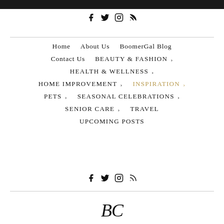[Figure (other): Black top navigation bar]
[Figure (other): Social media icons row (Facebook, Twitter, Instagram, RSS) at top]
Home   About Us   BoomerGal Blog
Contact Us   BEAUTY & FASHION ›
HEALTH & WELLNESS ›
HOME IMPROVEMENT ›   INSPIRATION ›
PETS ›   SEASONAL CELEBRATIONS ›
SENIOR CARE ›   TRAVEL
UPCOMING POSTS
[Figure (other): Social media icons row (Facebook, Twitter, Instagram, RSS) at bottom]
[Figure (logo): BC script logo initials]